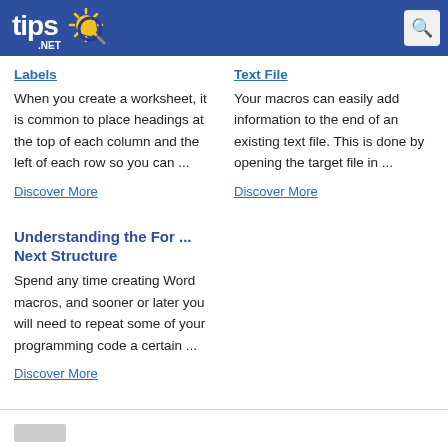tips .NET
Labels
When you create a worksheet, it is common to place headings at the top of each column and the left of each row so you can ...
Discover More
Text File
Your macros can easily add information to the end of an existing text file. This is done by opening the target file in ...
Discover More
Understanding the For ... Next Structure
Spend any time creating Word macros, and sooner or later you will need to repeat some of your programming code a certain ...
Discover More